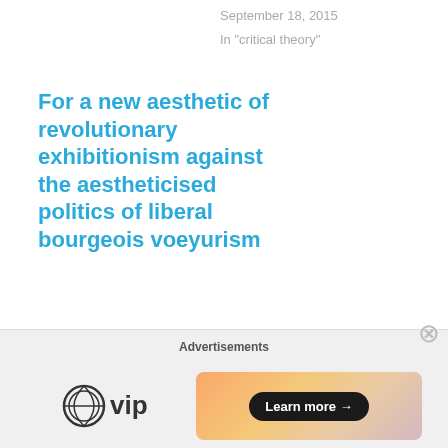September 18, 2015
In "critical theory"
For a new aesthetic of revolutionary exhibitionism against the aestheticised politics of liberal bourgeois voeyurism
There is a need to think a new revolutionary aesthetics of exhibitionism
Advertisements
[Figure (logo): WordPress VIP logo with WordPress circle icon and 'vip' text]
[Figure (other): Advertisement banner with gradient background and 'Learn more →' button]